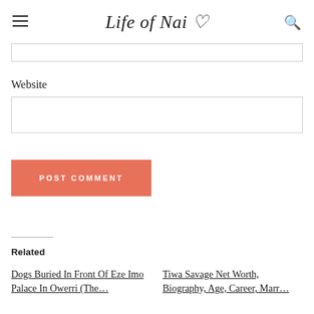Life of Nai ♡
Website
POST COMMENT
Related
Dogs Buried In Front Of Eze Imo Palace In Owerri (The…
Tiwa Savage Net Worth, Biography, Age, Career, Marr…